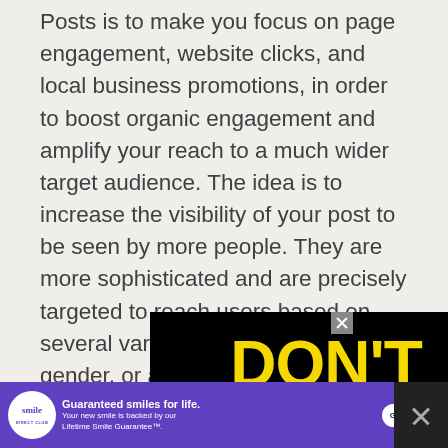Posts is to make you focus on page engagement, website clicks, and local business promotions, in order to boost organic engagement and amplify your reach to a much wider target audience. The idea is to increase the visibility of your post to be seen by more people. They are more sophisticated and are precisely targeted to reach users based on several variables such as age, gender, or areas of interest.
[Figure (other): Advertisement image with black background showing bold yellow text 'DON'T TEXT' and partial cyan/blue text 'AND' visible at bottom, with a close button (X) in top right corner]
[Figure (other): Bottom banner advertisement for Smile Direct Club on purple/violet background. Shows Smile Direct Club logo (white circle with brand name), headline 'Guaranteed smiles for life.', subtext 'Your new smile is backed by our Lifetime Smile Guarantee™.', white 'Get started' button, and a dark close button with X on the right.]